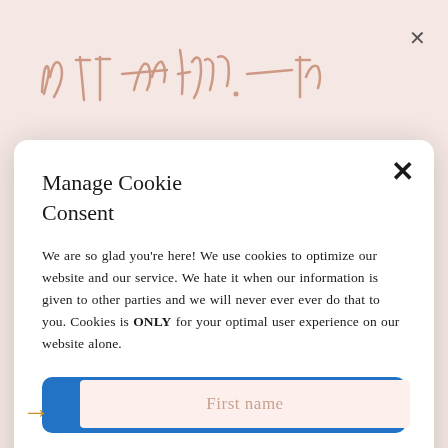[Figure (illustration): Handwritten cursive logo text in rose-gold/copper color at the top of the page background]
Manage Cookie Consent
We are so glad you're here! We use cookies to optimize our website and our service. We hate it when our information is given to other parties and we will never ever ever do that to you. Cookies is ONLY for your optimal user experience on our website alone.
ACCEPT
Cookie Policy  Privacy Policy
First name